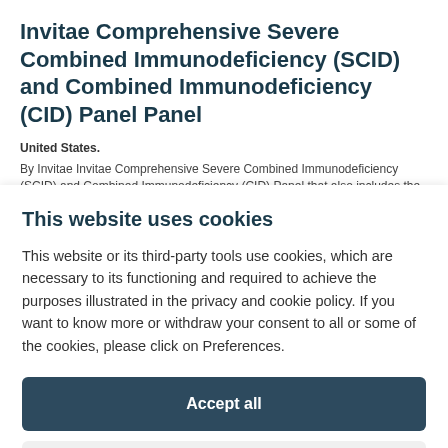Invitae Comprehensive Severe Combined Immunodeficiency (SCID) and Combined Immunodeficiency (CID) Panel Panel
United States. By Invitae Invitae Comprehensive Severe Combined Immunodeficiency (SCID) and Combined Immunodeficiency (CID) Panel that also includes the following genes: STK4 TAPBP TNFRSF4 CD27 CD40LG ZAP70 CARD11 CD3D
This website uses cookies
This website or its third-party tools use cookies, which are necessary to its functioning and required to achieve the purposes illustrated in the privacy and cookie policy. If you want to know more or withdraw your consent to all or some of the cookies, please click on Preferences.
Accept all
Preferences